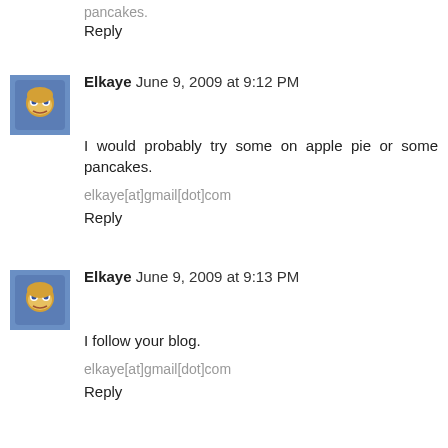Reply
Elkaye June 9, 2009 at 9:12 PM
I would probably try some on apple pie or some pancakes.
elkaye[at]gmail[dot]com
Reply
Elkaye June 9, 2009 at 9:13 PM
I follow your blog.
elkaye[at]gmail[dot]com
Reply